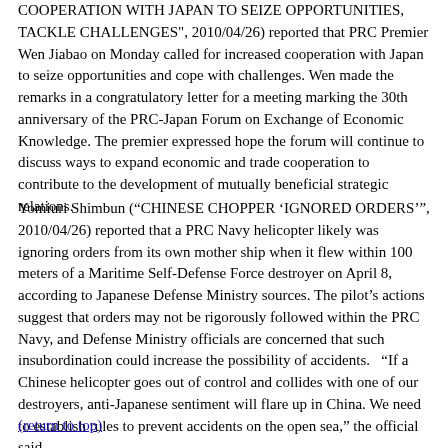COOPERATION WITH JAPAN TO SEIZE OPPORTUNITIES, TACKLE CHALLENGES", 2010/04/26) reported that PRC Premier Wen Jiabao on Monday called for increased cooperation with Japan to seize opportunities and cope with challenges. Wen made the remarks in a congratulatory letter for a meeting marking the 30th anniversary of the PRC-Japan Forum on Exchange of Economic Knowledge. The premier expressed hope the forum will continue to discuss ways to expand economic and trade cooperation to contribute to the development of mutually beneficial strategic relations.
Yomiuri Shimbun (“CHINESE CHOPPER ‘IGNORED ORDERS’”, 2010/04/26) reported that a PRC Navy helicopter likely was ignoring orders from its own mother ship when it flew within 100 meters of a Maritime Self-Defense Force destroyer on April 8, according to Japanese Defense Ministry sources. The pilot’s actions suggest that orders may not be rigorously followed within the PRC Navy, and Defense Ministry officials are concerned that such insubordination could increase the possibility of accidents.   “If a Chinese helicopter goes out of control and collides with one of our destroyers, anti-Japanese sentiment will flare up in China. We need to establish rules to prevent accidents on the open sea,” the official said.
(return to top)